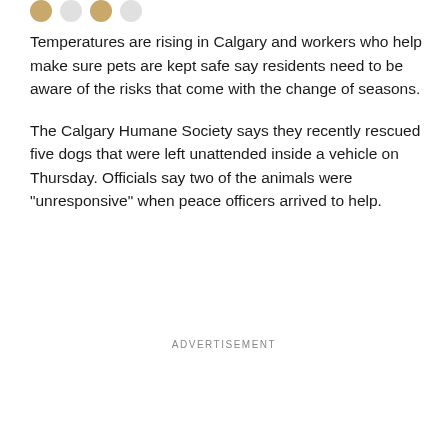[Figure (other): Row of social sharing icon circles at the top of the page]
Temperatures are rising in Calgary and workers who help make sure pets are kept safe say residents need to be aware of the risks that come with the change of seasons.
The Calgary Humane Society says they recently rescued five dogs that were left unattended inside a vehicle on Thursday. Officials say two of the animals were "unresponsive" when peace officers arrived to help.
ADVERTISEMENT